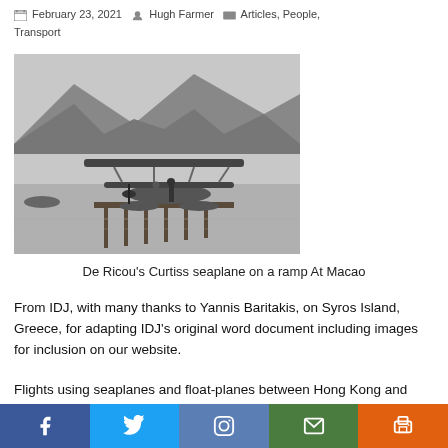February 23, 2021 · Hugh Farmer · Articles, People, Transport
[Figure (photo): Black and white historical photograph of De Ricou's Curtiss seaplane on a ramp at Macao, showing a biplane floatplane on a wooden dock/ramp with mountains and water in the background.]
De Ricou's Curtiss seaplane on a ramp At Macao
From IDJ, with many thanks to Yannis Baritakis, on Syros Island, Greece, for adapting IDJ's original word document including images for inclusion on our website.
Flights using seaplanes and float-planes between Hong Kong and Macao were not entirely unknown after de